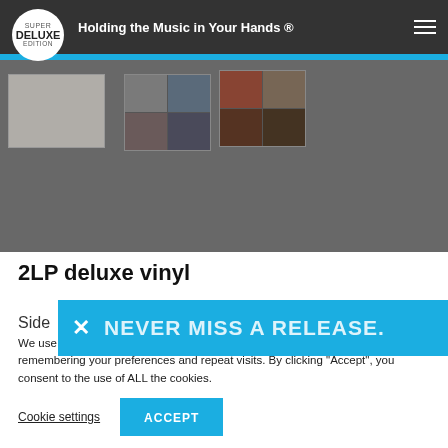Holding the Music in Your Hands ® — Super Deluxe Edition
[Figure (screenshot): Website hero area showing thumbnail images of album artwork on a dark gray background]
2LP deluxe vinyl
Side
[Figure (infographic): Blue banner overlay with close X button and text NEVER MISS A RELEASE.]
We use cookies on our website to give you the most relevant experience by remembering your preferences and repeat visits. By clicking “Accept”, you consent to the use of ALL the cookies.
Cookie settings    ACCEPT